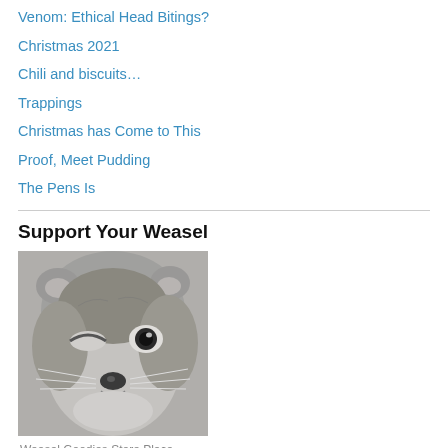Venom: Ethical Head Bitings?
Christmas 2021
Chili and biscuits…
Trappings
Christmas has Come to This
Proof, Meet Pudding
The Pens Is
Support Your Weasel
[Figure (photo): Black and white close-up photo of a weasel face, one eye closed as if winking, the other eye open and dark, with fluffy fur and a small black nose.]
Weasel Goodies Store Place